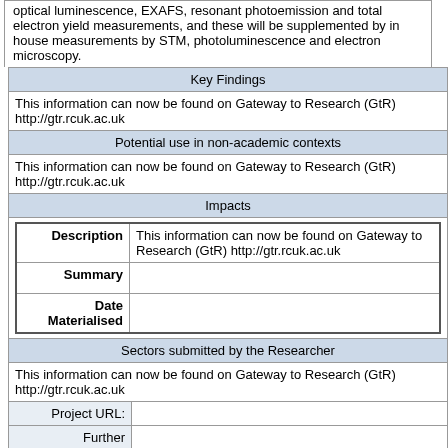optical luminescence, EXAFS, resonant photoemission and total electron yield measurements, and these will be supplemented by in house measurements by STM, photoluminescence and electron microscopy.
| Key Findings |
| This information can now be found on Gateway to Research (GtR) http://gtr.rcuk.ac.uk |
| Potential use in non-academic contexts |
| This information can now be found on Gateway to Research (GtR) http://gtr.rcuk.ac.uk |
| Impacts |
| Description | This information can now be found on Gateway to Research (GtR) http://gtr.rcuk.ac.uk |
| Summary |  |
| Date Materialised |  |
| Sectors submitted by the Researcher |
| This information can now be found on Gateway to Research (GtR) http://gtr.rcuk.ac.uk |
| Project URL: |  |
| Further Information: |  |
| Organisation Website: | http://www.man.ac.uk |